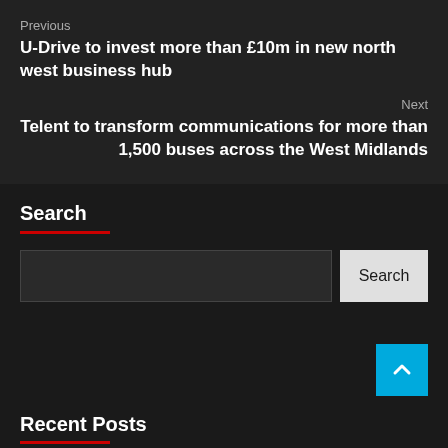Previous
U-Drive to invest more than £10m in new north west business hub
Next
Telent to transform communications for more than 1,500 buses across the West Midlands
Search
Recent Posts